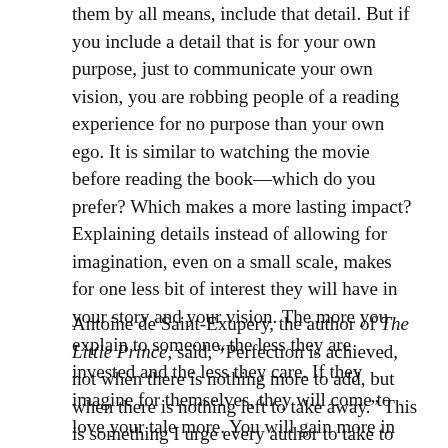them by all means, include that detail. But if you include a detail that is for your own purpose, just to communicate your own vision, you are robbing people of a reading experience for no purpose than your own ego. It is similar to watching the movie before reading the book—which do you prefer? Which makes a more lasting impact? Explaining details instead of allowing for imagination, even on a small scale, makes for one less bit of interest they will have in your story and your vision. The more you explain to someone, the less they are invested and the less they care. If they imagine for themselves, they will come to love your tale more. You will gain more in the end with restraint.
Antoine de Saint-Exupery, the author of The Little Prince, said, "Perfection is achieved, not when there is nothing more to add, but when there is nothing left to take away." This is something I urge every author to take to heart. It should be the guiding principle not of writing,